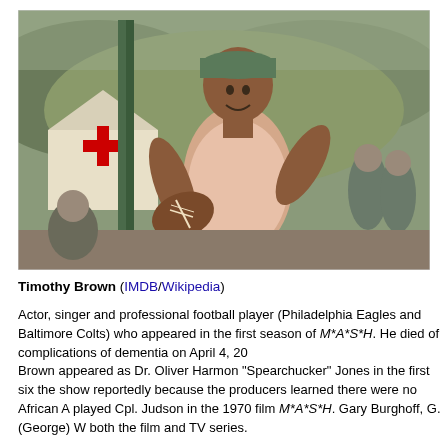[Figure (photo): Timothy Brown holding a football in a scene from M*A*S*H, wearing a pink sleeveless shirt and a green cap, with a military camp tent in the background]
Timothy Brown (IMDB/Wikipedia)
Actor, singer and professional football player (Philadelphia Eagles and Baltimore Colts) who appeared in the first season of M*A*S*H. He died of complications of dementia on April 4, 20...
Brown appeared as Dr. Oliver Harmon "Spearchucker" Jones in the first six episodes before being dropped from the show reportedly because the producers learned there were no African A... He also played Cpl. Judson in the 1970 film M*A*S*H. Gary Burghoff, G. (George) W... appeared in both the film and TV series.